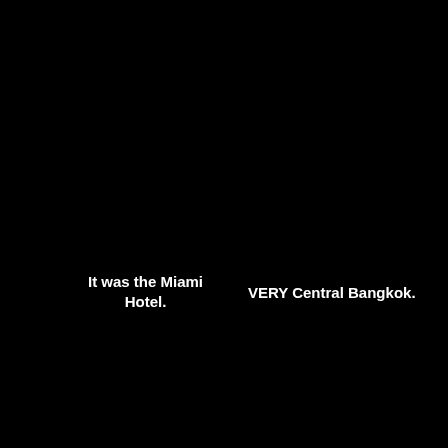It was the Miami Hotel.
VERY Central Bangkok.